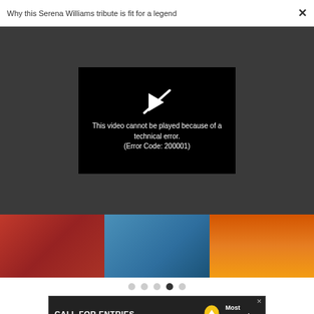Why this Serena Williams tribute is fit for a legend  ×
[Figure (screenshot): Video player showing error message on dark background. Black error box with broken play icon and text: 'This video cannot be played because of a technical error. (Error Code: 200001)']
[Figure (photo): Image strip showing three cropped photos side by side: person in red shirt, person in blue shirt with dark blue pants, industrial scene with orange fire/smoke]
● ● ● ● ●  (carousel navigation dots, 4th dot active)
[Figure (screenshot): Advertisement banner: 'CALL FOR ENTRIES DEADLINE: SEPTEMBER 23' with lightbulb icon and 'Most Innovative Companies']